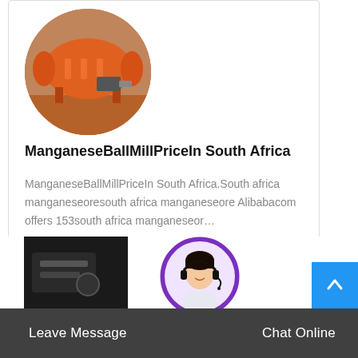[Figure (photo): Circular cropped photo of orange industrial ball mill equipment on a red sandy ground]
ManganeseBallMillPriceIn South Africa
ManganeseBallMillPriceIn South Africa.South africa manganeseoresouth africa manganeseore Alibabacom offers 153south africa manganeseor…
Read More →
[Figure (photo): Partial view of dark industrial machinery at bottom left]
[Figure (photo): Customer service agent avatar with headset in circular purple-bordered frame]
Leave Message   Chat Online